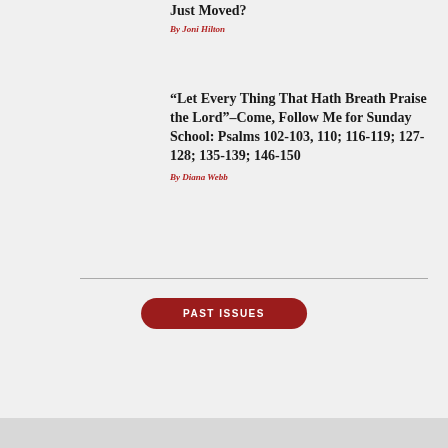Just Moved?
By Joni Hilton
“Let Every Thing That Hath Breath Praise the Lord”–Come, Follow Me for Sunday School: Psalms 102-103, 110; 116-119; 127-128; 135-139; 146-150
By Diana Webb
PAST ISSUES